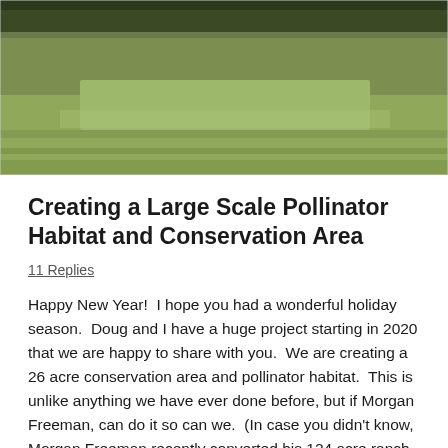[Figure (photo): Aerial or ground-level view of a large green grassy field with trees visible at the top edge, photographed in daylight.]
Creating a Large Scale Pollinator Habitat and Conservation Area
11 Replies
Happy New Year!  I hope you had a wonderful holiday season.  Doug and I have a huge project starting in 2020 that we are happy to share with you.  We are creating a 26 acre conservation area and pollinator habitat.  This is unlike anything we have ever done before, but if Morgan Freeman, can do it so can we.  (In case you didn't know, Morgan Freeman recently converted his 124 acre ranch in Mississippi to a bee sanctuary.  I am a huge Morgan Freeman fan.  He